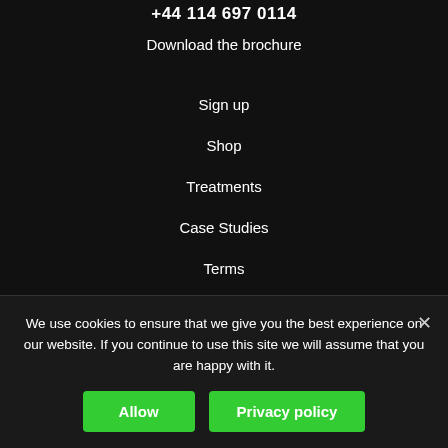+44 114 697 0114
Download the brochure
Sign up
Shop
Treatments
Case Studies
Terms
Privacy Policy
We use cookies to ensure that we give you the best experience on our website. If you continue to use this site we will assume that you are happy with it.
Allow
Privacy policy